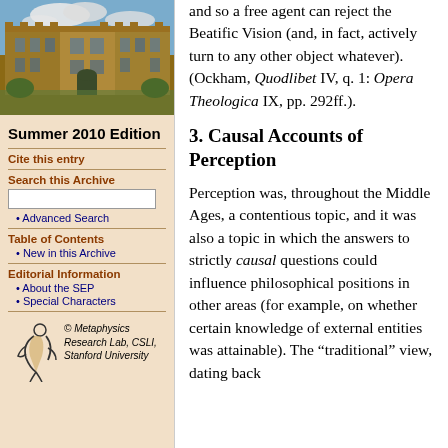[Figure (photo): Photograph of a historic stone university building (likely Oxford or similar) with Gothic architecture against a blue sky with clouds]
Summer 2010 Edition
Cite this entry
Search this Archive
Advanced Search
Table of Contents
New in this Archive
Editorial Information
About the SEP
Special Characters
[Figure (logo): Metaphysics Research Lab, CSLI, Stanford University logo with stylized figure]
and so a free agent can reject the Beatific Vision (and, in fact, actively turn to any other object whatever). (Ockham, Quodlibet IV, q. 1: Opera Theologica IX, pp. 292ff.).
3. Causal Accounts of Perception
Perception was, throughout the Middle Ages, a contentious topic, and it was also a topic in which the answers to strictly causal questions could influence philosophical positions in other areas (for example, on whether certain knowledge of external entities was attainable). The “traditional” view, dating back